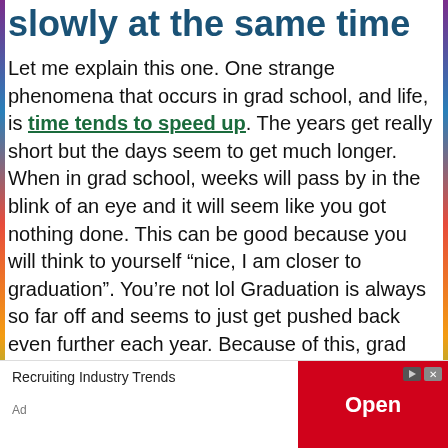slowly at the same time
Let me explain this one. One strange phenomena that occurs in grad school, and life, is time tends to speed up. The years get really short but the days seem to get much longer. When in grad school, weeks will pass by in the blink of an eye and it will seem like you got nothing done. This can be good because you will think to yourself “nice, I am closer to graduation”. You’re not lol Graduation is always so far off and seems to just get pushed back even further each year. Because of this, grad school will seem extremely long even though it goes by quickly. It’s a weird thing that happens and definitely is a challenge in grad school.
[Figure (other): Image placeholder labeled 'Challenges of grad school' with a chevron/arrow icon to the right]
You it f d
Recruiting Industry Trends
Ad